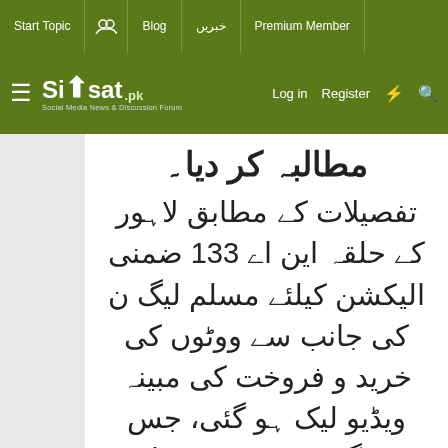Start Topic | Blog | خبریں | Premium Member | Log in | Register
Siasat.pk - Social Media News & Discussion Forum
مطالبہ کر دیا۔
تفصیلات کے مطابق لاہور کے حلقہ این اے 133 ضمنی الیکشن کیلئے مسلم لیگ ن کی جانب سے ووٹوں کی خرید و فروخت کی مبینہ ویڈیو لیک ہو گئی، جس جگہ ووٹ خریدے جا